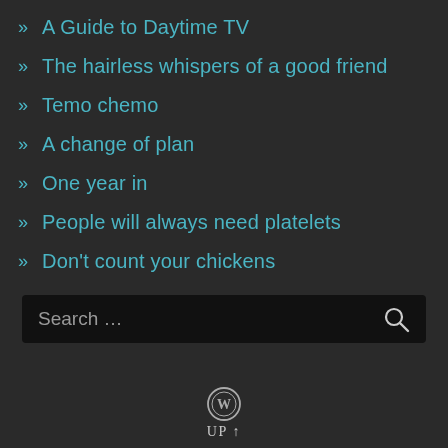» A Guide to Daytime TV
» The hairless whispers of a good friend
» Temo chemo
» A change of plan
» One year in
» People will always need platelets
» Don't count your chickens
Search …
UP ↑